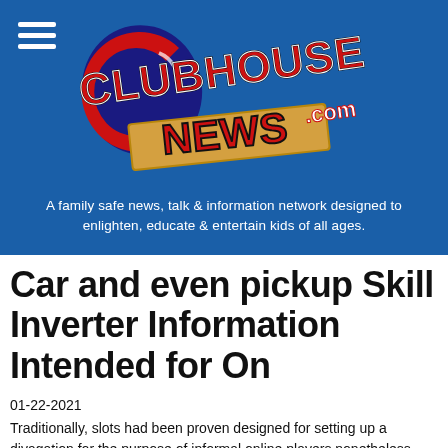[Figure (logo): ClubhouseNews.com logo on blue background with hamburger menu icon]
A family safe news, talk & information network designed to enlighten, educate & entertain kids of all ages.
Car and even pickup Skill Inverter Information Intended for On
01-22-2021
Traditionally, slots had been proven designed for setting up a divagation for the purpose of informal online players nonetheless little by little, they will developed into typically the most popular activities played in plant…